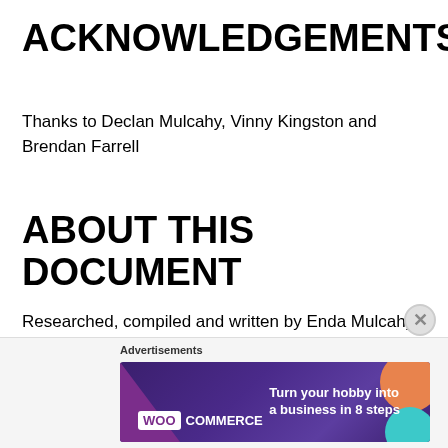ACKNOWLEDGEMENTS
Thanks to Declan Mulcahy, Vinny Kingston and Brendan Farrell
ABOUT THIS DOCUMENT
Researched, compiled and written by Enda Mulcahy for the
Eirball | Irish North American and World Sports Archive
Last Updated: 30 March 2020
Advertisements